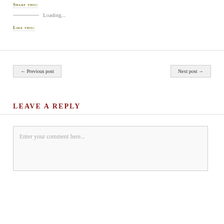Share this:
Loading...
Like this:
← Previous post
Next post →
LEAVE A REPLY
Enter your comment here...